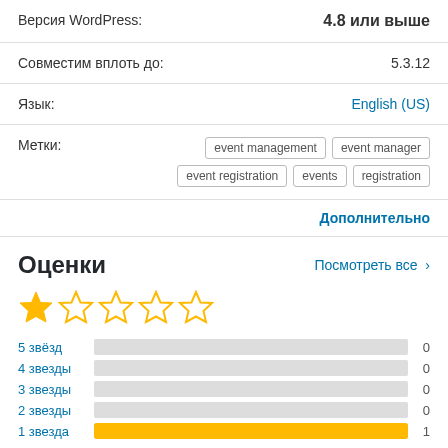| Версия WordPress: | 4.8 или выше |
| Совместим вплоть до: | 5.3.12 |
| Язык: | English (US) |
| Метки: | event management  event manager  event registration  events  registration |
Дополнительно
Оценки
Посмотреть все >
[Figure (other): Star rating: 1 out of 5 stars, showing one filled gold star and four empty stars]
| Рейтинг | Бар | Количество |
| --- | --- | --- |
| 5 звёзд |  | 0 |
| 4 звезды |  | 0 |
| 3 звезды |  | 0 |
| 2 звезды |  | 0 |
| 1 звезда | filled | 1 |